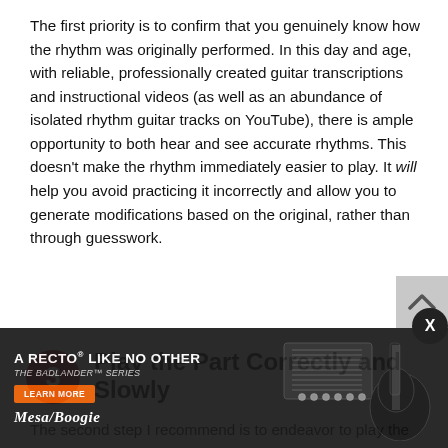The first priority is to confirm that you genuinely know how the rhythm was originally performed. In this day and age, with reliable, professionally created guitar transcriptions and instructional videos (as well as an abundance of isolated rhythm guitar tracks on YouTube), there is ample opportunity to both hear and see accurate rhythms. This doesn't make the rhythm immediately easier to play. It will help you avoid practicing it incorrectly and allow you to generate modifications based on the original, rather than through guesswork.
3 Play the Part Correctly and Slowly
The second step I recommend is to endeavor to play the part correctly at a slow tempo, focusing on the rhythm rather than speed. This is about building time rather than...
[Figure (advertisement): Mesa/Boogie amp advertisement. Dark background with guitar amplifier image. Text: 'A RECTO LIKE NO OTHER', 'THE BADLANDER SERIES', 'LEARN MORE' button, and 'MESA/BOOGIE' logo.]